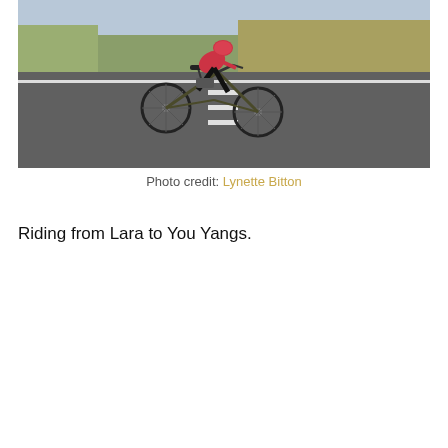[Figure (photo): A cyclist in pink/black racing kit riding a road bike along an empty road with dry scrubland and trees in the background.]
Photo credit: Lynette Bitton
Riding from Lara to You Yangs.